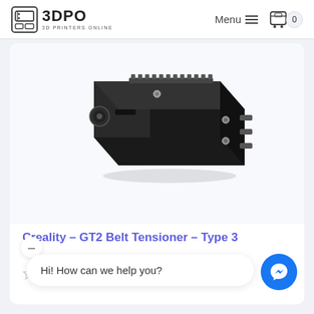3DPO 3D PRINTERS ONLINE — Menu 0
[Figure (photo): Close-up photo of a black Creality GT2 Belt Tensioner Type 3 — a metal mechanical component with screws and a toothed gear belt mechanism, photographed against a white/light background.]
Creality – GT2 Belt Tensioner – Type 3
☆ ☆ ☆ ☆ ☆
Hi! How can we help you?